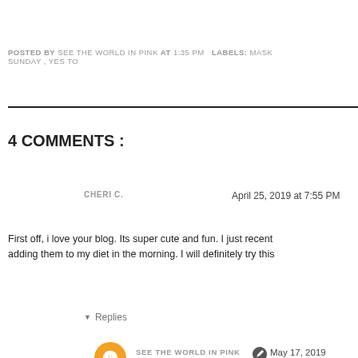POSTED BY SEE THE WORLD IN PINK AT 1:35 PM   LABELS: MASK SUNDAY , YES TO
4 COMMENTS :
CHERI C.  April 25, 2019 at 7:55 PM
First off, i love your blog. Its super cute and fun. I just recent... adding them to my diet in the morning. I will definitely try this
Replies
SEE THE WORLD IN PINK  May 17, 2019
Thanks Cheri! Grapefruits are awesome!
Reply